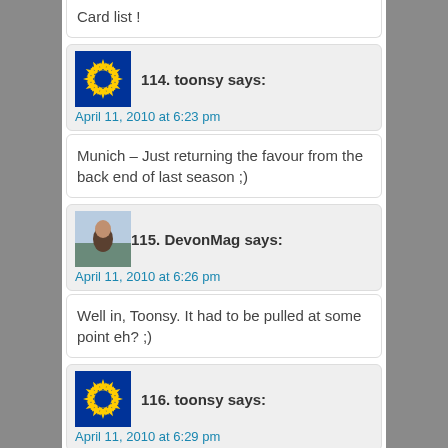Card list !
114. toonsy says:
April 11, 2010 at 6:23 pm
Munich – Just returning the favour from the back end of last season ;)
115. DevonMag says:
April 11, 2010 at 6:26 pm
Well in, Toonsy. It had to be pulled at some point eh? ;)
116. toonsy says:
April 11, 2010 at 6:29 pm